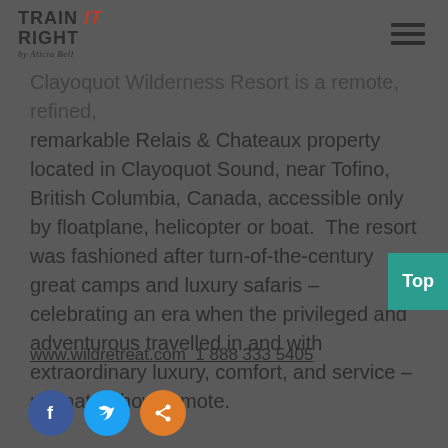Train It Right by Alicia Bell — navigation header with hamburger menu
Clayoquot Wilderness Resort is a remote, refined, remarkable Relais & Chateaux property located in Clayoquot Sound, near Tofino, British Columbia, Canada, accessible only by floatplane, helicopter or boat.  The resort was fashioned after turn-of-the-century great camps and luxury safaris – celebrating an era when the privileged and adventurous travelled in and with extraordinary luxury, comfort, and service – no matter how remote.
www.wildretreat.com  1 888 333 5405